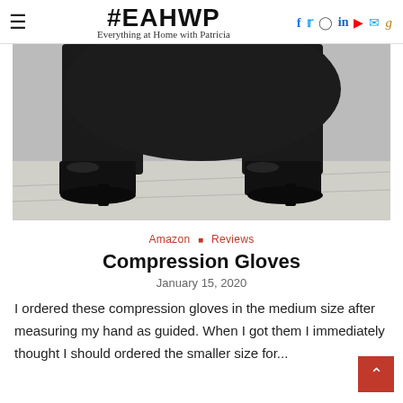#EAHWP Everything at Home with Patricia
[Figure (photo): Lower half of a person wearing a black dress or wide-leg pants and black high-heel pumps, standing on a light gray tiled floor.]
Amazon · Reviews
Compression Gloves
January 15, 2020
I ordered these compression gloves in the medium size after measuring my hand as guided. When I got them I immediately thought I should ordered the smaller size for...